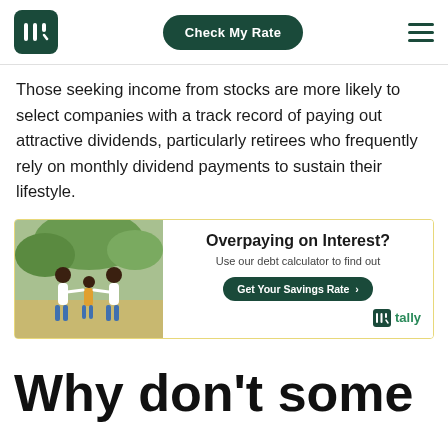Tally — Check My Rate
Those seeking income from stocks are more likely to select companies with a track record of paying out attractive dividends, particularly retirees who frequently rely on monthly dividend payments to sustain their lifestyle.
[Figure (infographic): Advertisement banner with photo of family outdoors and Tally ad: 'Overpaying on Interest? Use our debt calculator to find out. Get Your Savings Rate.']
Why don't some